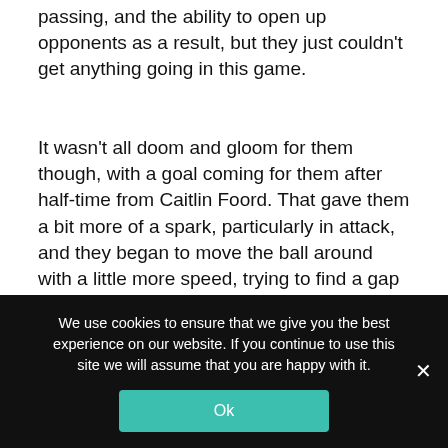passing, and the ability to open up opponents as a result, but they just couldn't get anything going in this game.
It wasn't all doom and gloom for them though, with a goal coming for them after half-time from Caitlin Foord. That gave them a bit more of a spark, particularly in attack, and they began to move the ball around with a little more speed, trying to find a gap in Manchester City's defence to shoot at goal from.
[Figure (photo): Partial photograph of what appears to be a stadium or sports ground area with vehicles visible, cropped view from above]
We use cookies to ensure that we give you the best experience on our website. If you continue to use this site we will assume that you are happy with it.